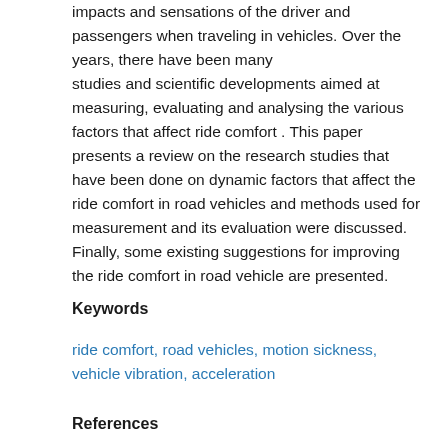impacts and sensations of the driver and passengers when traveling in vehicles. Over the years, there have been many studies and scientific developments aimed at measuring, evaluating and analysing the various factors that affect ride comfort . This paper presents a review on the research studies that have been done on dynamic factors that affect the ride comfort in road vehicles and methods used for measurement and its evaluation were discussed. Finally, some existing suggestions for improving the ride comfort in road vehicle are presented.
Keywords
ride comfort, road vehicles, motion sickness, vehicle vibration, acceleration
References